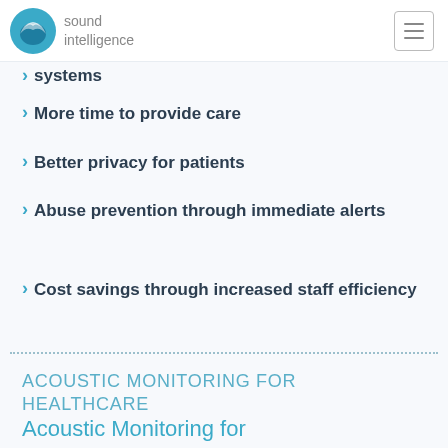sound intelligence
systems (partial, cropped)
More time to provide care
Better privacy for patients
Abuse prevention through immediate alerts
Cost savings through increased staff efficiency
ACOUSTIC MONITORING FOR HEALTHCARE
Acoustic Monitoring for Healthcare